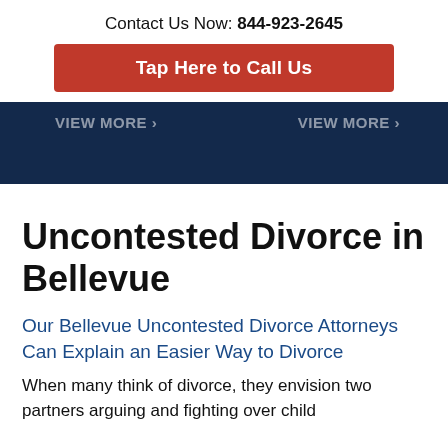Contact Us Now: 844-923-2645
Tap Here to Call Us
[Figure (other): Dark navy banner with two 'View More >' links visible]
Uncontested Divorce in Bellevue
Our Bellevue Uncontested Divorce Attorneys Can Explain an Easier Way to Divorce
When many think of divorce, they envision two partners arguing and fighting over child